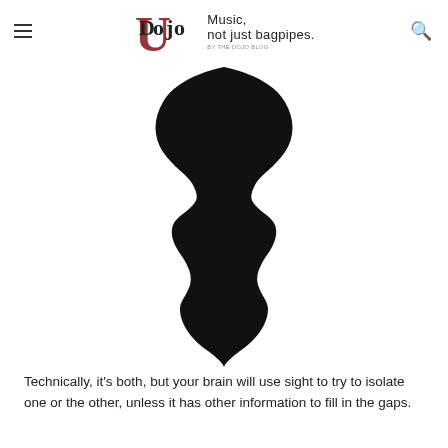Dojo U — Music, not just bagpipes.
[Figure (illustration): Rubin's vase optical illusion: a black silhouette that can be seen either as a vase/chalice or as two faces in profile facing each other. The shape narrows in the middle with decorative bulges and widens at the top and bottom.]
Technically, it's both, but your brain will use sight to try to isolate one or the other, unless it has other information to fill in the gaps.